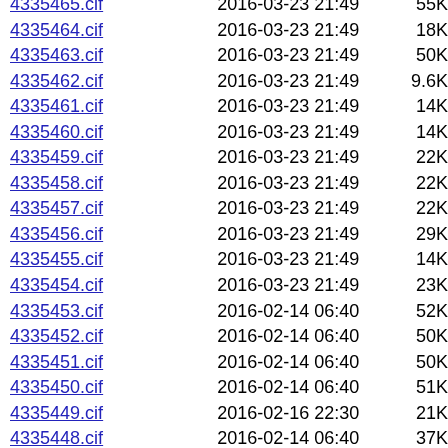4335465.cif  2016-03-23 21:49  55K
4335464.cif  2016-03-23 21:49  18K
4335463.cif  2016-03-23 21:49  50K
4335462.cif  2016-03-23 21:49  9.6K
4335461.cif  2016-03-23 21:49  14K
4335460.cif  2016-03-23 21:49  14K
4335459.cif  2016-03-23 21:49  22K
4335458.cif  2016-03-23 21:49  22K
4335457.cif  2016-03-23 21:49  22K
4335456.cif  2016-03-23 21:49  29K
4335455.cif  2016-03-23 21:49  14K
4335454.cif  2016-03-23 21:49  23K
4335453.cif  2016-02-14 06:40  52K
4335452.cif  2016-02-14 06:40  50K
4335451.cif  2016-02-14 06:40  50K
4335450.cif  2016-02-14 06:40  51K
4335449.cif  2016-02-16 22:30  21K
4335448.cif  2016-02-14 06:40  37K
4335447.cif  2016-02-14 06:40  40K
4335446.cif  2016-02-14 06:40  43K
4335445.cif  2016-02-14 06:40  39K